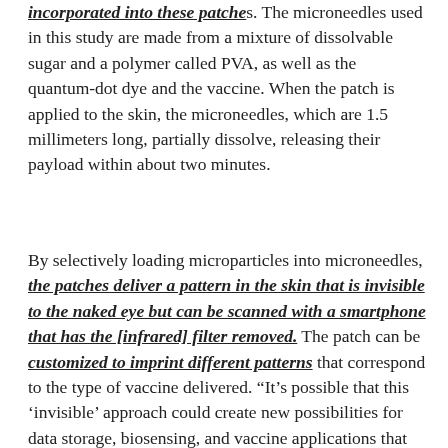incorporated into these patches. The microneedles used in this study are made from a mixture of dissolvable sugar and a polymer called PVA, as well as the quantum-dot dye and the vaccine. When the patch is applied to the skin, the microneedles, which are 1.5 millimeters long, partially dissolve, releasing their payload within about two minutes.
By selectively loading microparticles into microneedles, the patches deliver a pattern in the skin that is invisible to the naked eye but can be scanned with a smartphone that has the [infrared] filter removed. The patch can be customized to imprint different patterns that correspond to the type of vaccine delivered. "It’s possible that this ‘invisible’ approach could create new possibilities for data storage, biosensing, and vaccine applications that could improve how medical care is provided,